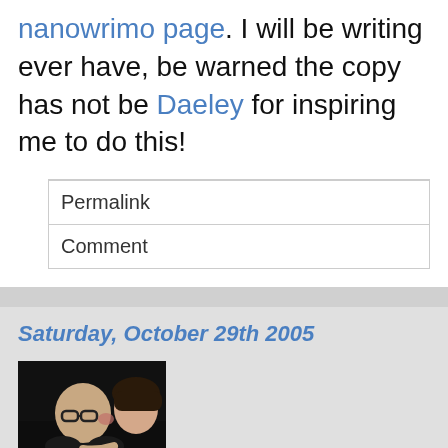nanowrimo page. I will be writing ever have, be warned the copy has not be Daeley for inspiring me to do this!
Permalink
Comment
Saturday, October 29th 2005
[Figure (photo): A man with glasses being kissed on the cheek by a woman, dark background]